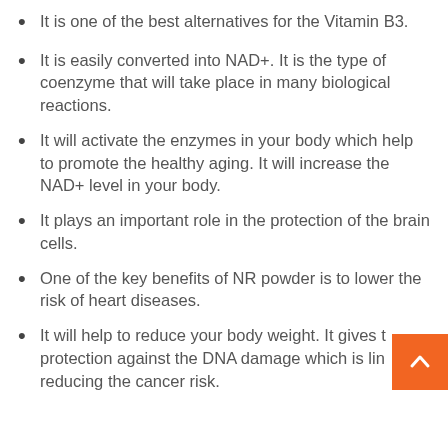It is one of the best alternatives for the Vitamin B3.
It is easily converted into NAD+. It is the type of coenzyme that will take place in many biological reactions.
It will activate the enzymes in your body which help to promote the healthy aging. It will increase the NAD+ level in your body.
It plays an important role in the protection of the brain cells.
One of the key benefits of NR powder is to lower the risk of heart diseases.
It will help to reduce your body weight. It gives the protection against the DNA damage which is linked to reducing the cancer risk.